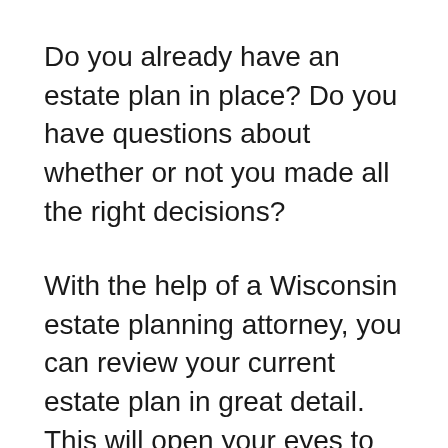Do you already have an estate plan in place? Do you have questions about whether or not you made all the right decisions?
With the help of a Wisconsin estate planning attorney, you can review your current estate plan in great detail. This will open your eyes to what you did right, as well as anything you may have missed out on.
There's never a bad time to review an estate plan and make necessary changes. As you